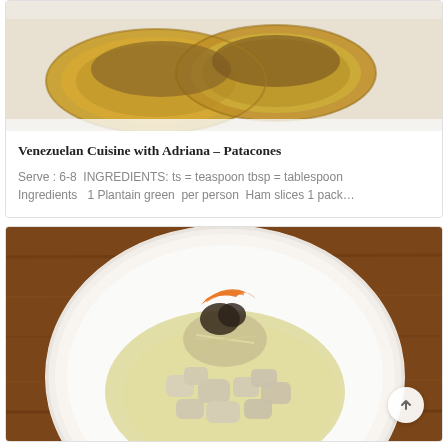[Figure (photo): Photo of Venezuelan Patacones dish — fried green plantain rounds topped with meat filling, on a white surface]
Venezuelan Cuisine with Adriana – Patacones
Serve : 6-8  INGREDIENTS: ts = teaspoon tbsp = tablespoon Ingredients   1 Plantain green  per person  Ham slices 1 pack…
[Figure (photo): Photo of a plated chicken dish in cream/herb sauce with a vegetable nest garnish topped with orange and dark mushroom garnishes, served on a large white round plate on a wooden table surface]